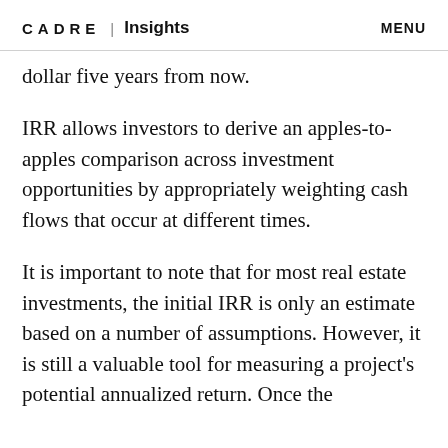CADRE | Insights   MENU
dollar five years from now.
IRR allows investors to derive an apples-to-apples comparison across investment opportunities by appropriately weighting cash flows that occur at different times.
It is important to note that for most real estate investments, the initial IRR is only an estimate based on a number of assumptions. However, it is still a valuable tool for measuring a project's potential annualized return. Once the